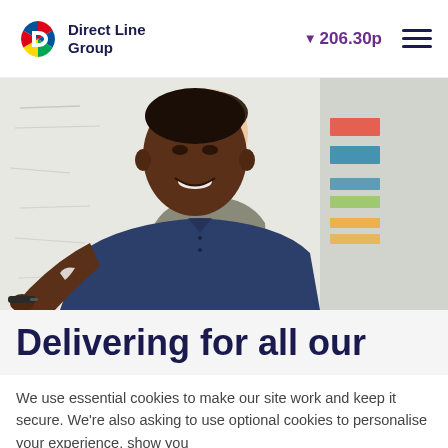Direct Line Group | 206.30p
[Figure (photo): Two men at a whiteboard: one Black man in a navy polo shirt writing on the whiteboard with a marker while smiling, and one white man in a grey t-shirt standing behind observing. Sticky notes and charts visible on whiteboard in background.]
Delivering for all our
We use essential cookies to make our site work and keep it secure. We're also asking to use optional cookies to personalise your experience, show you